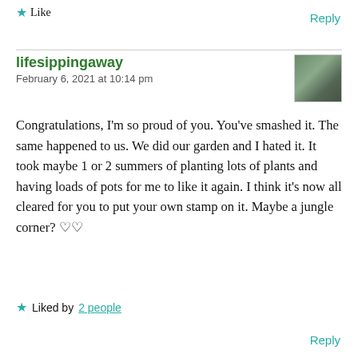Like
Reply
lifesippingaway
February 6, 2021 at 10:14 pm
[Figure (photo): Small square avatar photo showing a building/garden scene]
Congratulations, I'm so proud of you. You've smashed it. The same happened to us. We did our garden and I hated it. It took maybe 1 or 2 summers of planting lots of plants and having loads of pots for me to like it again. I think it's now all cleared for you to put your own stamp on it. Maybe a jungle corner? ♡♡
Liked by 2 people
Reply